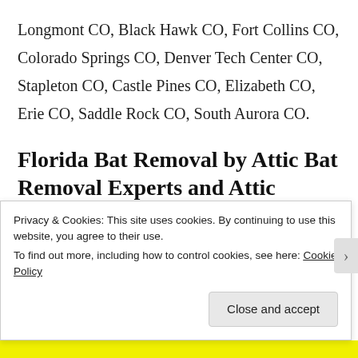Longmont CO, Black Hawk CO, Fort Collins CO, Colorado Springs CO, Denver Tech Center CO, Stapleton CO, Castle Pines CO, Elizabeth CO, Erie CO, Saddle Rock CO, South Aurora CO.
Florida Bat Removal by Attic Bat Removal Experts and Attic
Privacy & Cookies: This site uses cookies. By continuing to use this website, you agree to their use.
To find out more, including how to control cookies, see here: Cookie Policy